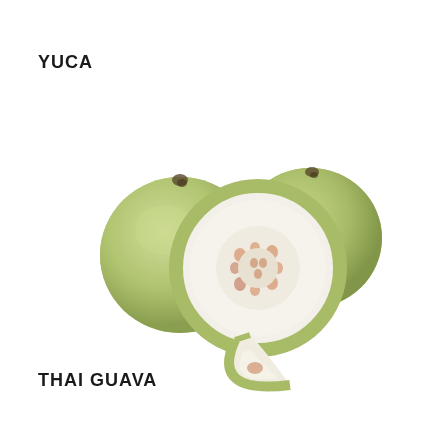YUCA
[Figure (photo): Three Thai guava fruits — two whole green round guavas and one cut open showing white flesh with small pink/orange seed cluster in the center, plus a wedge slice showing the interior flesh]
THAI GUAVA
[Figure (photo): Partial view of a round brown fruit at the bottom of the page, cropped]